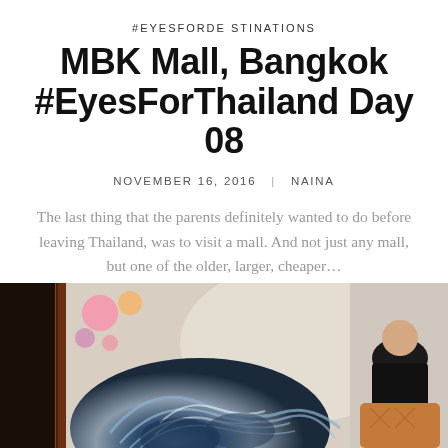#EYESFORDE STINATIONS
MBK Mall, Bangkok #EyesForThailand Day 08
NOVEMBER 16, 2016   NAINA
The last thing that the parents definitely wanted to do before leaving Thailand, was to visit a mall. And not just any mall, but one of the older, larger, cheaper…
VIEW POST
[Figure (photo): Indoor photo showing a woman with blue and white swirled hair decoration/headdress in the foreground, and a man in a black shirt sitting at a chair in the background, taken inside what appears to be a shop or salon.]